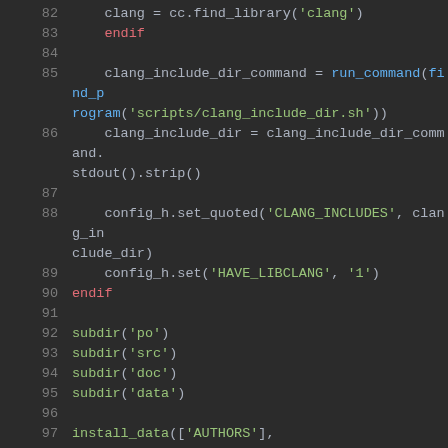[Figure (screenshot): Code editor screenshot showing lines 82-99 of a Meson build script with syntax highlighting. Dark background (#2b2b2b) with colored tokens: red for keywords (endif), blue for function calls (run_command, find_program, join_paths, get_option), green for string literals and function names (subdir, install_data), and light gray for identifiers.]